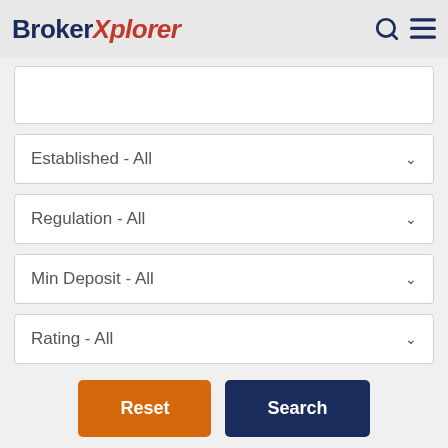BrokerXplorer
Established - All
Regulation - All
Min Deposit - All
Rating - All
Reset
Search
Advanced Search >